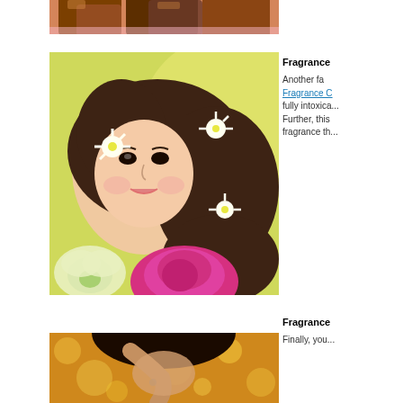[Figure (photo): Top portion of chocolate pieces on pink background, cropped]
[Figure (photo): Woman with long brown hair decorated with white daisies and flowers, with orchid and pink peony on yellow background]
Fragrance
Another fa... Fragrance C... fully intoxica... Further, this... fragrance th...
[Figure (photo): Woman with dark hair on golden bokeh background, cropped]
Fragrance
Finally, you...